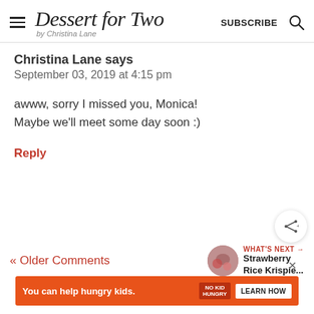Dessert for Two by Christina Lane — SUBSCRIBE
Christina Lane says
September 03, 2019 at 4:15 pm
awww, sorry I missed you, Monica! Maybe we'll meet some day soon :)
Reply
« Older Comments
WHAT'S NEXT → Strawberry Rice Krispie...
[Figure (infographic): Advertisement banner: orange background, 'You can help hungry kids.' text, No Kid Hungry logo, LEARN HOW button]
You can help hungry kids.